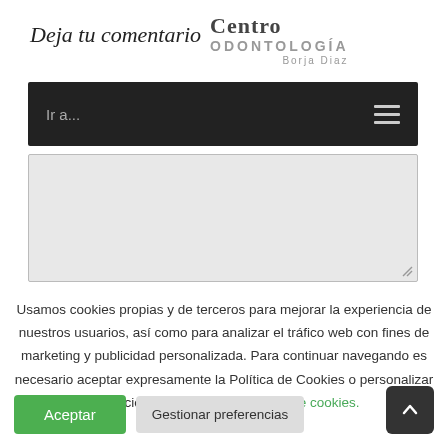Deja tu comentario
[Figure (logo): Centro Odontología Borja Diaz logo overlapping the title]
[Figure (screenshot): Navigation bar with dark background, 'Ir a...' text on left and hamburger menu icon on right]
[Figure (screenshot): Text area input box with resize handle]
Usamos cookies propias y de terceros para mejorar la experiencia de nuestros usuarios, así como para analizar el tráfico web con fines de marketing y publicidad personalizada. Para continuar navegando es necesario aceptar expresamente la Política de Cookies o personalizar las opciones. Más info en política de cookies.